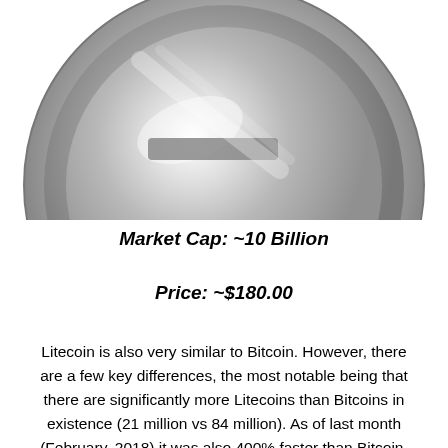[Figure (illustration): Litecoin silver coin graphic, partially cropped at top, showing a metallic circular coin with a stylized 'L' symbol in the center]
Market Cap: ~10 Billion
Price: ~$180.00
Litecoin is also very similar to Bitcoin. However, there are a few key differences, the most notable being that there are significantly more Litecoins than Bitcoins in existence (21 million vs 84 million). As of last month (February, 2018) it was also 400% faster than Bitcoin. Litecoin also uses “Scrypt” algorithm, whereas Bitcoin